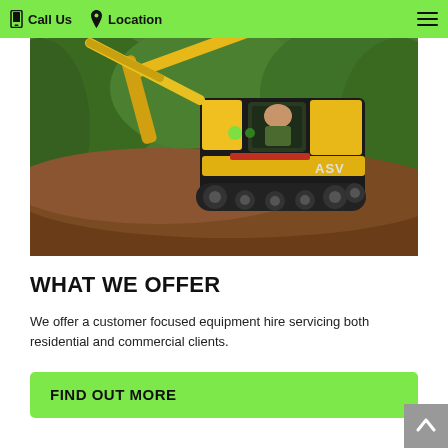Call Us  Location
[Figure (photo): A yellow and black tracked skid steer loader (ASV brand) climbing a large mound of dirt, with green foliage in the background.]
WHAT WE OFFER
We offer a customer focused equipment hire servicing both residential and commercial clients.
FIND OUT MORE